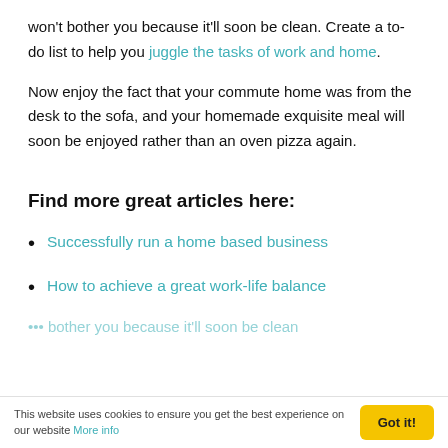won't bother you because it'll soon be clean. Create a to-do list to help you juggle the tasks of work and home.
Now enjoy the fact that your commute home was from the desk to the sofa, and your homemade exquisite meal will soon be enjoyed rather than an oven pizza again.
Find more great articles here:
Successfully run a home based business
How to achieve a great work-life balance
This website uses cookies to ensure you get the best experience on our website More info   Got it!